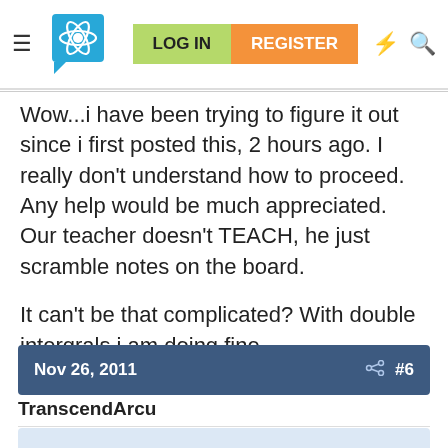LOG IN | REGISTER
Wow...i have been trying to figure it out since i first posted this, 2 hours ago. I really don't understand how to proceed. Any help would be much appreciated. Our teacher doesn't TEACH, he just scramble notes on the board.

It can't be that complicated? With double intergrals i am doing fine....
Nov 26, 2011  #6
TranscendArcu